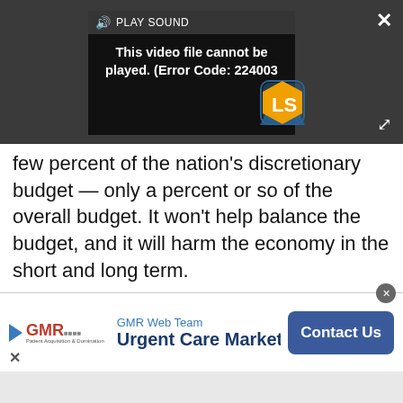[Figure (screenshot): Video player showing error message 'This video file cannot be played. (Error Code: 224003)' with a PLAY SOUND button, an LS logo, close (×) and expand buttons on a dark background.]
few percent of the nation's discretionary budget — only a percent or so of the overall budget. It won't help balance the budget, and it will harm the economy in the short and long term.
[Figure (screenshot): Advertisement placeholder box with 'Advertisement' label.]
[Figure (screenshot): GMR Web Team — Urgent Care Marketing ad banner with Contact Us button.]